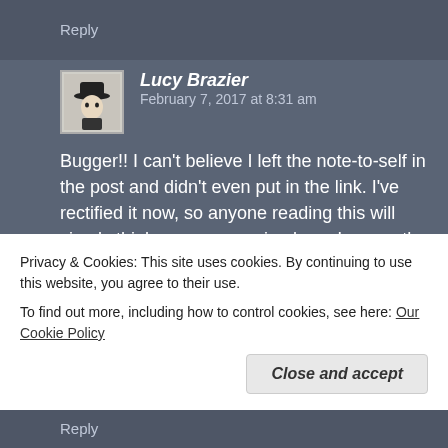Reply
Lucy Brazier   February 7, 2017 at 8:31 am
Bugger!! I can't believe I left the note-to-self in the post and didn't even put in the link. I've rectified it now, so anyone reading this will simply think you are a raving loon. I mean, they might have thought that anyway, but I am happy to make clear that it was my cock-up. And we're into ernie territory...
Privacy & Cookies: This site uses cookies. By continuing to use this website, you agree to their use.
To find out more, including how to control cookies, see here: Our Cookie Policy
Close and accept
Reply